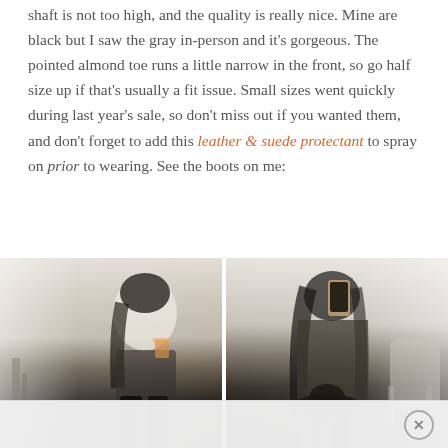shaft is not too high, and the quality is really nice. Mine are black but I saw the gray in-person and it's gorgeous. The pointed almond toe runs a little narrow in the front, so go half size up if that's usually a fit issue. Small sizes went quickly during last year's sale, so don't miss out if you wanted them, and don't forget to add this leather & suede protectant to spray on prior to wearing. See the boots on me:
[Figure (photo): Two side-by-side fashion photos. Left: A woman in a white turtleneck, plaid skirt, and black over-the-knee boots sitting at a table. Right: A woman in a dark oversized sweater and black leggings taking a mirror selfie while holding a hat.]